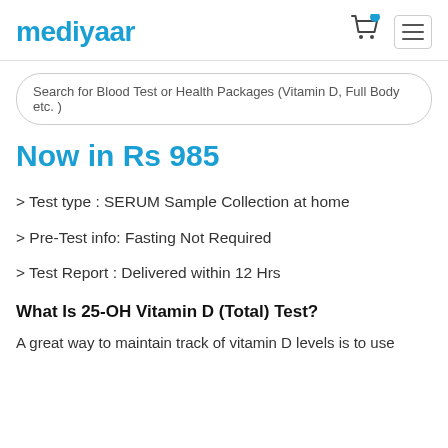mediyaar
Search for Blood Test or Health Packages (Vitamin D, Full Body etc. )
Now in Rs 985
> Test type : SERUM Sample Collection at home
> Pre-Test info: Fasting Not Required
> Test Report : Delivered within 12 Hrs
What Is 25-OH Vitamin D (Total) Test?
A great way to maintain track of vitamin D levels is to use